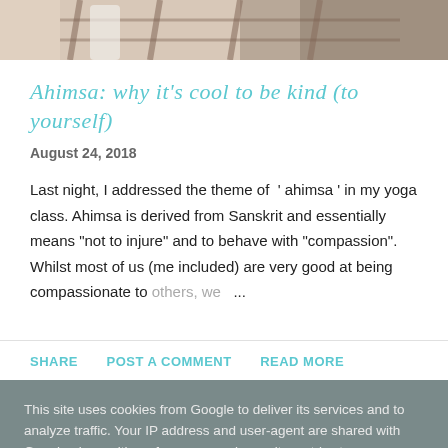[Figure (photo): Cropped photo showing a person in white clothing near what appears to be wooden railway tracks or a path]
Ahimsa: why it's cool to be kind (to yourself)
August 24, 2018
Last night, I addressed the theme of ' ahimsa ' in my yoga class. Ahimsa is derived from Sanskrit and essentially means "not to injure" and to behave with "compassion". Whilst most of us (me included) are very good at being compassionate to others, we ...
SHARE   POST A COMMENT   READ MORE
This site uses cookies from Google to deliver its services and to analyze traffic. Your IP address and user-agent are shared with Google along with performance and security metrics to ensure quality of service, generate usage statistics, and to detect and address abuse.
LEARN MORE   OK